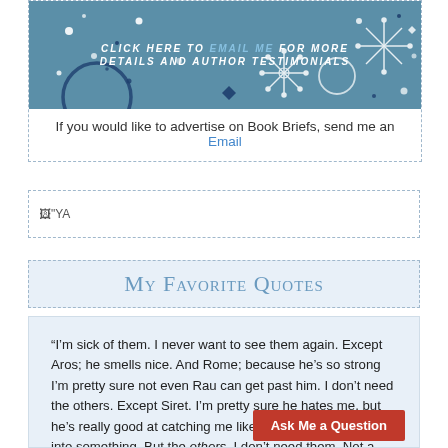[Figure (illustration): Teal/blue banner with decorative fireworks and sparkles design, with italic white and blue text: 'CLICK HERE TO EMAIL ME FOR MORE DETAILS AND AUTHOR TESTIMONIALS']
If you would like to advertise on Book Briefs, send me an Email
[Figure (illustration): YA image placeholder with broken image icon and 'YA' label]
My Favorite Quotes
“I’m sick of them. I never want to see them again. Except Aros; he smells nice. And Rome; because he’s so strong I’m pretty sure not even Rau can get past him. I don’t need the others. Except Siret. I’m pretty sure he hates me, but he’s really good at catching me like just before I face-plant into something. But the others, I don’t need them. Not a…